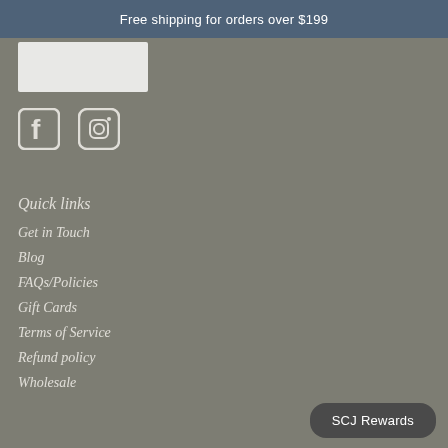Free shipping for orders over $199
[Figure (logo): White/light grey rectangular logo placeholder area]
[Figure (other): Facebook and Instagram social media icons in white/light color]
Quick links
Get in Touch
Blog
FAQs/Policies
Gift Cards
Terms of Service
Refund policy
Wholesale
SCJ Rewards